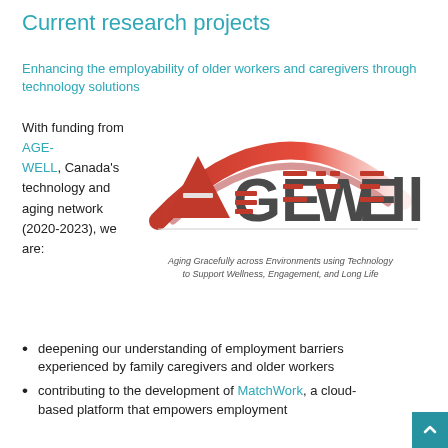Current research projects
Enhancing the employability of older workers and caregivers through technology solutions
With funding from AGE-WELL, Canada's technology and aging network (2020-2023), we are:
[Figure (logo): AGE-WELL logo with tagline: Aging Gracefully across Environments using Technology to Support Wellness, Engagement, and Long Life]
deepening our understanding of employment barriers experienced by family caregivers and older workers
contributing to the development of MatchWork, a cloud-based platform that empowers employment